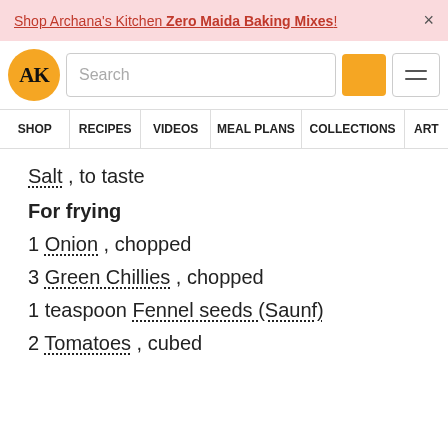Shop Archana's Kitchen Zero Maida Baking Mixes! ×
[Figure (logo): Archana's Kitchen logo - AK in orange circle]
Search
SHOP | RECIPES | VIDEOS | MEAL PLANS | COLLECTIONS | ART
Salt , to taste
For frying
1 Onion , chopped
3 Green Chillies , chopped
1 teaspoon Fennel seeds (Saunf)
2 Tomatoes , cubed